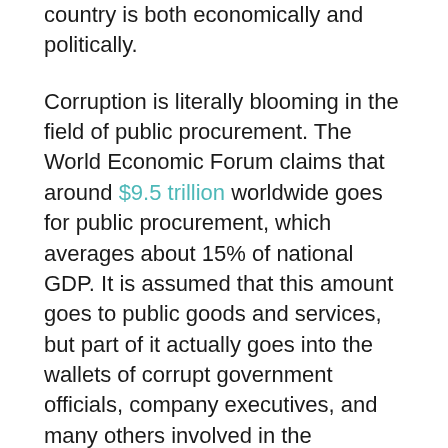country is both economically and politically.
Corruption is literally blooming in the field of public procurement. The World Economic Forum claims that around $9.5 trillion worldwide goes for public procurement, which averages about 15% of national GDP. It is assumed that this amount goes to public goods and services, but part of it actually goes into the wallets of corrupt government officials, company executives, and many others involved in the procurement process.
People are having difficulties fighting corruption on their own, so technologies have come to the rescue. Blockchain in particular has the potential to become an effective anti-corruption tool.
The World Economic Forum published a study on the blockchain-based public procurement system in